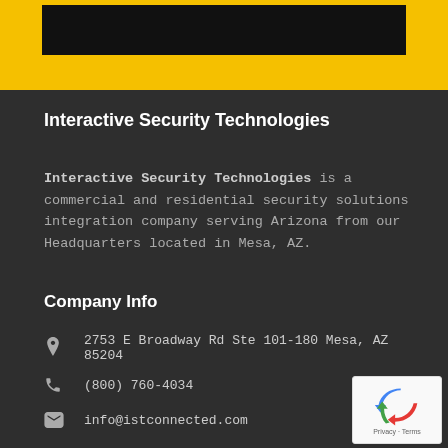[Figure (other): Yellow header bar with dark image/logo placeholder at top of page]
Interactive Security Technologies
Interactive Security Technologies is a commercial and residential security solutions integration company serving Arizona from our Headquarters located in Mesa, AZ.
Company Info
2753 E Broadway Rd Ste 101-180 Mesa, AZ 85204
(800) 760-4034
info@istconnected.com
[Figure (logo): Google reCAPTCHA badge with Privacy and Terms links]